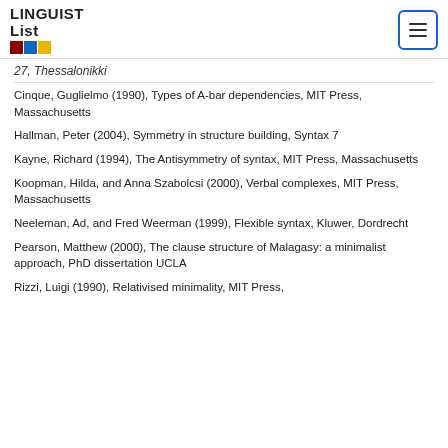LINGUIST List
27, Thessalonikki
Cinque, Guglielmo (1990), Types of A-bar dependencies, MIT Press, Massachusetts
Hallman, Peter (2004), Symmetry in structure building, Syntax 7
Kayne, Richard (1994), The Antisymmetry of syntax, MIT Press, Massachusetts
Koopman, Hilda, and Anna Szabolcsi (2000), Verbal complexes, MIT Press, Massachusetts
Neeleman, Ad, and Fred Weerman (1999), Flexible syntax, Kluwer, Dordrecht
Pearson, Matthew (2000), The clause structure of Malagasy: a minimalist approach, PhD dissertation UCLA
Rizzi, Luigi (1990), Relativised minimality, MIT Press,